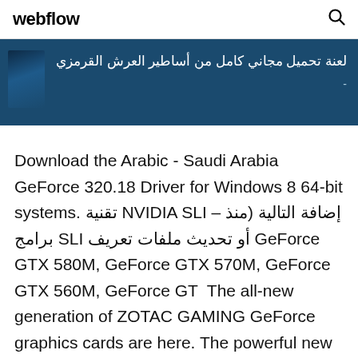webflow
[Figure (screenshot): Dark blue banner with Arabic text and a blue decorative image on the left. Arabic text reads: لعنة تحميل مجاني كامل من أساطير العرش القرمزي]
Download the Arabic - Saudi Arabia GeForce 320.18 Driver for Windows 8 64-bit systems. تقنية NVIDIA SLI – إضافة التالية (منذ برامج SLI أو تحديث ملفات تعريف GeForce GTX 580M, GeForce GTX 570M, GeForce GTX 560M, GeForce GT  The all-new generation of ZOTAC GAMING GeForce graphics cards are here. The powerful new GeForce RTX™ 2070 takes